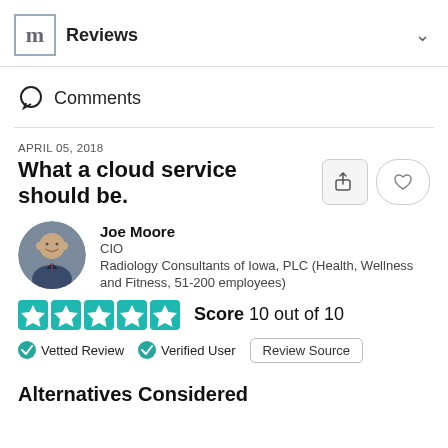Reviews
Comments
APRIL 05, 2018
What a cloud service should be.
Joe Moore
CIO
Radiology Consultants of Iowa, PLC (Health, Wellness and Fitness, 51-200 employees)
Score 10 out of 10
Vetted Review  Verified User  Review Source
Alternatives Considered